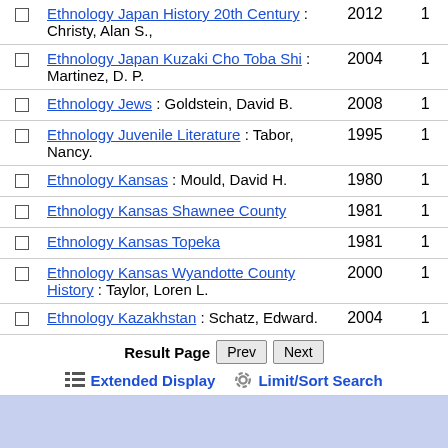|  | Title | Year | Count |
| --- | --- | --- | --- |
| ☐ | Ethnology Japan History 20th Century : Christy, Alan S., | 2012 | 1 |
| ☐ | Ethnology Japan Kuzaki Cho Toba Shi : Martinez, D. P. | 2004 | 1 |
| ☐ | Ethnology Jews : Goldstein, David B. | 2008 | 1 |
| ☐ | Ethnology Juvenile Literature : Tabor, Nancy. | 1995 | 1 |
| ☐ | Ethnology Kansas : Mould, David H. | 1980 | 1 |
| ☐ | Ethnology Kansas Shawnee County | 1981 | 1 |
| ☐ | Ethnology Kansas Topeka | 1981 | 1 |
| ☐ | Ethnology Kansas Wyandotte County History : Taylor, Loren L. | 2000 | 1 |
| ☐ | Ethnology Kazakhstan : Schatz, Edward. | 2004 | 1 |
Result Page   Prev   Next
Extended Display   Limit/Sort Search